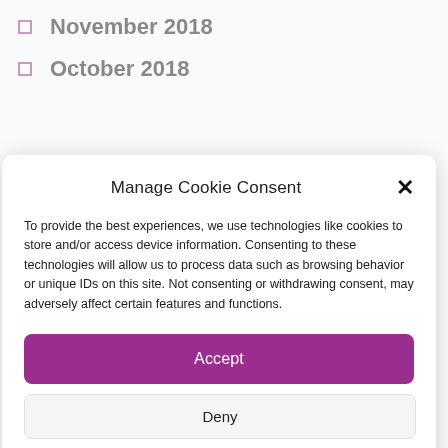November 2018
October 2018
Manage Cookie Consent
To provide the best experiences, we use technologies like cookies to store and/or access device information. Consenting to these technologies will allow us to process data such as browsing behavior or unique IDs on this site. Not consenting or withdrawing consent, may adversely affect certain features and functions.
Accept
Deny
View preferences
Cookie Policy   Privacy Statement